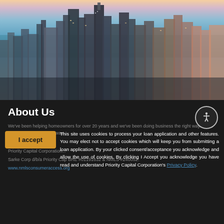[Figure (photo): Aerial cityscape photo of Chicago skyline with skyscrapers, Lake Michigan visible, taken at dusk/golden hour with warm and cool tones]
About Us
We've been helping homeowners for over 20 years and we've been doing business the right way. Licensing Info: Priority Capital Corporation BRE #01191632 & NMLS #240052. Sarke Corp d/b/a Priority Capital Corporation BRE #01191632 & NMLS #240052. www.nmlsconsumeraccess.org
This site uses cookies to process your loan application and other features. You may elect not to accept cookies which will keep you from submitting a loan application. By your clicked consent/acceptance you acknowledge and allow the use of cookies. By clicking I Accept you acknowledge you have read and understand Priority Capital Corporation's Privacy Policy.